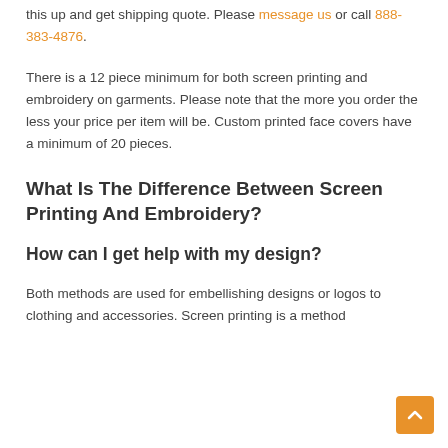this up and get shipping quote. Please message us or call 888-383-4876.
There is a 12 piece minimum for both screen printing and embroidery on garments. Please note that the more you order the less your price per item will be. Custom printed face covers have a minimum of 20 pieces.
What Is The Difference Between Screen Printing And Embroidery?
How can I get help with my design?
Both methods are used for embellishing designs or logos to clothing and accessories. Screen printing is a method